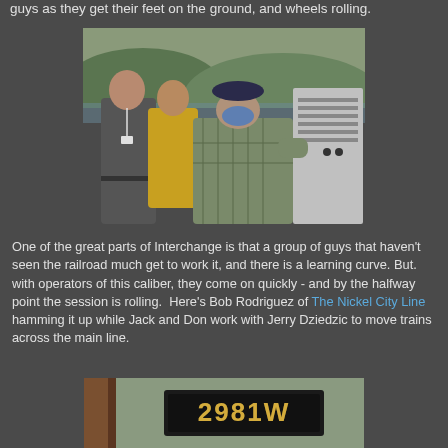guys as they get their feet on the ground, and wheels rolling.
[Figure (photo): Group of people working around model railroad equipment outdoors, with a river and hills in the background. One person in a gray shirt with a lanyard, another in a yellow shirt, and a person in a plaid jacket and blue cap wearing a mask.]
One of the great parts of Interchange is that a group of guys that haven't seen the railroad much get to work it, and there is a learning curve. But. with operators of this caliber, they come on quickly - and by the halfway point the session is rolling.  Here's Bob Rodriguez of The Nickel City Line hamming it up while Jack and Don work with Jerry Dziedzic to move trains across the main line.
[Figure (photo): Close-up of a number board sign reading '2981W' mounted on what appears to be a wooden door frame in a model railroad or station setting.]